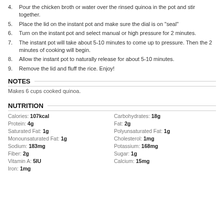4. Pour the chicken broth or water over the rinsed quinoa in the pot and stir together.
5. Place the lid on the instant pot and make sure the dial is on "seal"
6. Turn on the instant pot and select manual or high pressure for 2 minutes.
7. The instant pot will take about 5-10 minutes to come up to pressure. Then the 2 minutes of cooking will begin.
8. Allow the instant pot to naturally release for about 5-10 minutes.
9. Remove the lid and fluff the rice. Enjoy!
NOTES
Makes 6 cups cooked quinoa.
NUTRITION
Calories: 107kcal | Carbohydrates: 18g | Protein: 4g | Fat: 2g | Saturated Fat: 1g | Polyunsaturated Fat: 1g | Monounsaturated Fat: 1g | Cholesterol: 1mg | Sodium: 183mg | Potassium: 168mg | Fiber: 2g | Sugar: 1g | Vitamin A: 5IU | Calcium: 15mg | Iron: 1mg